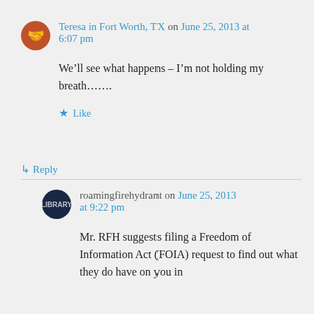Teresa in Fort Worth, TX on June 25, 2013 at 6:07 pm
We’ll see what happens – I’m not holding my breath…….
★ Like
↳ Reply
roamingfirehydrant on June 25, 2013 at 9:22 pm
Mr. RFH suggests filing a Freedom of Information Act (FOIA) request to find out what they do have on you in